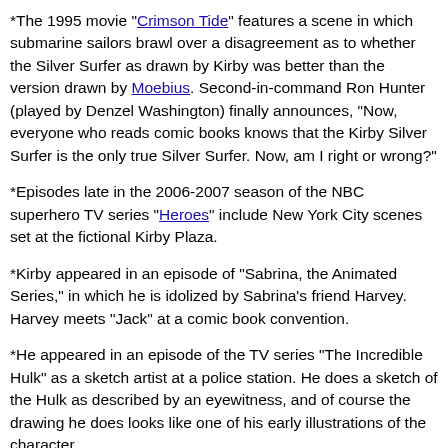*The 1995 movie "Crimson Tide" features a scene in which submarine sailors brawl over a disagreement as to whether the Silver Surfer as drawn by Kirby was better than the version drawn by Moebius. Second-in-command Ron Hunter (played by Denzel Washington) finally announces, "Now, everyone who reads comic books knows that the Kirby Silver Surfer is the only true Silver Surfer. Now, am I right or wrong?"
*Episodes late in the 2006-2007 season of the NBC superhero TV series "Heroes" include New York City scenes set at the fictional Kirby Plaza.
*Kirby appeared in an episode of "Sabrina, the Animated Series," in which he is idolized by Sabrina's friend Harvey. Harvey meets "Jack" at a comic book convention.
*He appeared in an episode of the TV series "The Incredible Hulk" as a sketch artist at a police station. He does a sketch of the Hulk as described by an eyewitness, and of course the drawing he does looks like one of his early illustrations of the character.
*In the Marvel title She-Hulk, the titular character is employed in her